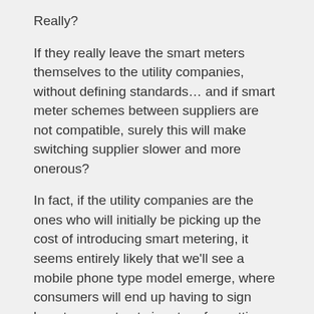Really?
If they really leave the smart meters themselves to the utility companies, without defining standards... and if smart meter schemes between suppliers are not compatible, surely this will make switching supplier slower and more onerous?
In fact, if the utility companies are the ones who will initially be picking up the cost of introducing smart metering, it seems entirely likely that we'll see a mobile phone type model emerge, where consumers will end up having to sign long-term contracts in return for getting a free or subsidised meter.
If energy company A have to pay hundreds of pounds to fit a smart meter in my house, and politically can't